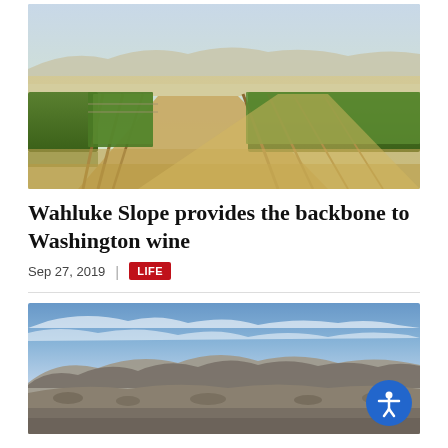[Figure (photo): Rows of grapevines in a Washington vineyard with dry sandy soil between vine posts, mountains visible in background under blue sky]
Wahluke Slope provides the backbone to Washington wine
Sep 27, 2019   |   LIFE
[Figure (photo): Panoramic landscape photograph of arid brown hills and mountains under a blue sky with wispy clouds, Washington state scenery]